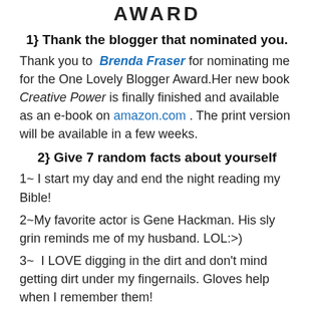AWARD
1} Thank the blogger that nominated you.
Thank you to Brenda Fraser for nominating me for the One Lovely Blogger Award.Her new book Creative Power is finally finished and available as an e-book on amazon.com . The print version will be available in a few weeks.
2} Give 7 random facts about yourself
1~ I start my day and end the night reading my Bible!
2~My favorite actor is Gene Hackman. His sly grin reminds me of my husband. LOL:>)
3~  I LOVE digging in the dirt and don't mind getting dirt under my fingernails. Gloves help when I remember them!